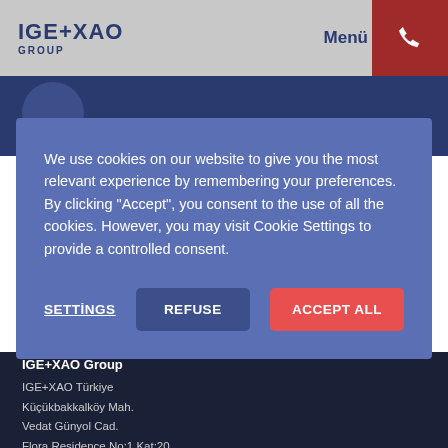IGE+XAO GROUP | Menü
We use cookies on our website to give you the most relevant experience by remembering your preferences. By clicking “Accept”, you consent to the use of all the cookies. However, you may visit Cookie Settings to provide a controlled consent.
SETTINGS | REFUSE | ACCEPT ALL
IGE+XAO Group
IGE+XAO Türkiye
Küçükbakkalköy Mah.
Vedat Günyol Cad.
Flora Residence No:1 Kat:20